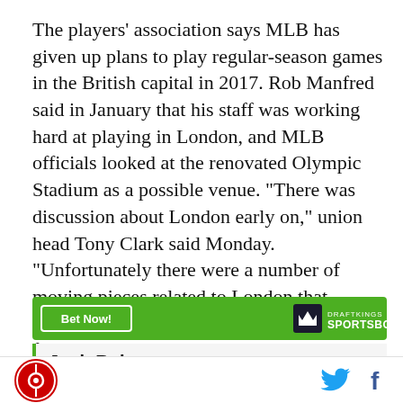The players' association says MLB has given up plans to play regular-season games in the British capital in 2017. Rob Manfred said in January that his staff was working hard at playing in London, and MLB officials looked at the renovated Olympic Stadium as a possible venue. "There was discussion about London early on," union head Tony Clark said Monday. "Unfortunately there were a number of moving pieces related to London that shortened our window in an effort to try to find common ground on that happening, and we weren't able to get it done in time."
[Figure (other): DraftKings Sportsbook advertisement banner with green background, 'Bet Now!' button and DraftKings Sportsbook logo with crown icon]
Josh Rojas
SB Nation logo | Twitter icon | Facebook icon